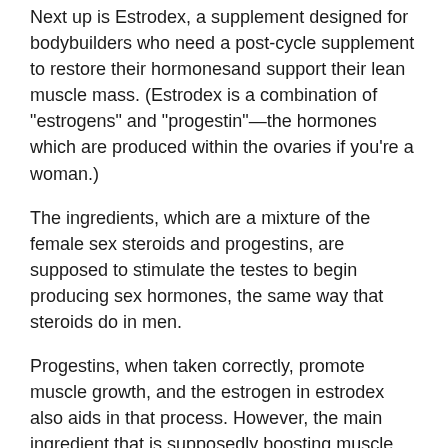Next up is Estrodex, a supplement designed for bodybuilders who need a post-cycle supplement to restore their hormonesand support their lean muscle mass. (Estrodex is a combination of "estrogens" and "progestin"—the hormones which are produced within the ovaries if you're a woman.)
The ingredients, which are a mixture of the female sex steroids and progestins, are supposed to stimulate the testes to begin producing sex hormones, the same way that steroids do in men.
Progestins, when taken correctly, promote muscle growth, and the estrogen in estrodex also aids in that process. However, the main ingredient that is supposedly boosting muscle growth are the anabolic steroids.
One downside of estrodex is that it contains